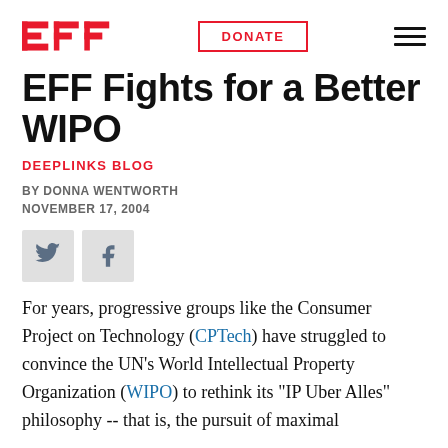EFF | DONATE
EFF Fights for a Better WIPO
DEEPLINKS BLOG
BY DONNA WENTWORTH
NOVEMBER 17, 2004
[Figure (other): Twitter and Facebook social share icons]
For years, progressive groups like the Consumer Project on Technology (CPTech) have struggled to convince the UN's World Intellectual Property Organization (WIPO) to rethink its "IP Uber Alles" philosophy -- that is, the pursuit of maximal